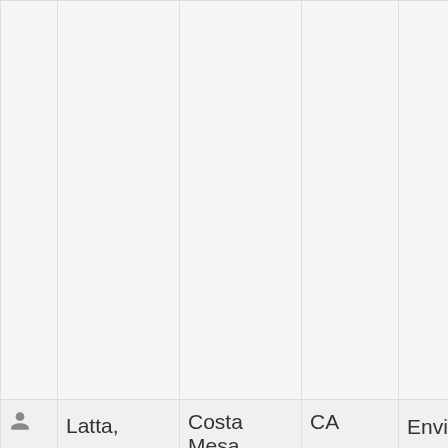|  | Name | City | State | Topics | Skills |
| --- | --- | --- | --- | --- | --- |
|  |  |  |  |  | Search
Optimi...
Social...
Writin...
Spee...
Subst...
Editin...
Writin...
Writin...
Writin... |
| (icon) | Latta, Christine | Costa Mesa | CA | Environment, Investigative Reporting, Politics and Government, Travel, Other | Acade...
and E...
Blogg...
Writin...
Editin...
Copyw...
Ghost... |